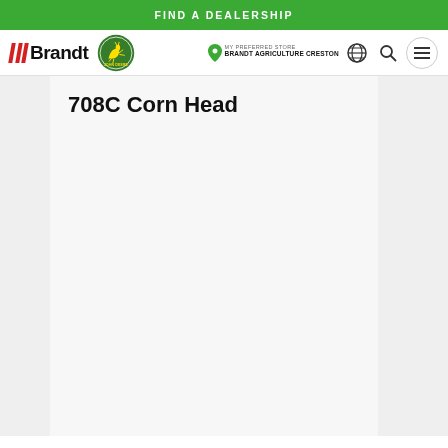FIND A DEALERSHIP
[Figure (logo): Brandt and John Deere logos in navigation bar with store location, globe icon, search icon, and hamburger menu icon]
708C Corn Head